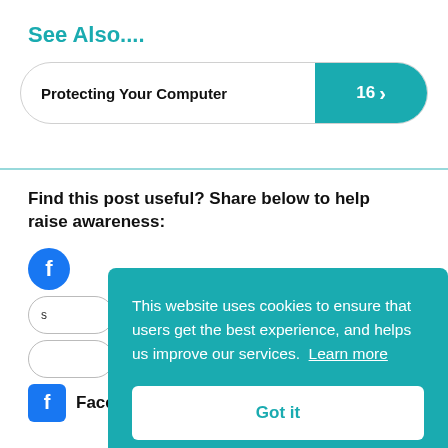See Also....
Protecting Your Computer  16 ›
Find this post useful? Share below to help raise awareness:
[Figure (screenshot): Social share buttons including a blue circular button and outline pill buttons]
Facebook
This website uses cookies to ensure that users get the best experience, and helps us improve our services. Learn more
Got it